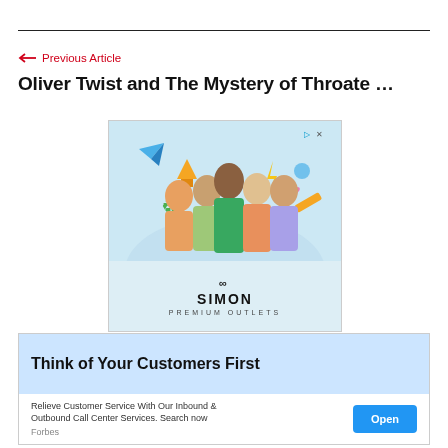← Previous Article
Oliver Twist and The Mystery of Throate …
[Figure (photo): Simon Premium Outlets advertisement featuring group of children with colorful floating icons]
[Figure (infographic): Forbes advertisement: Think of Your Customers First — Relieve Customer Service With Our Inbound & Outbound Call Center Services. Search now. Open button.]